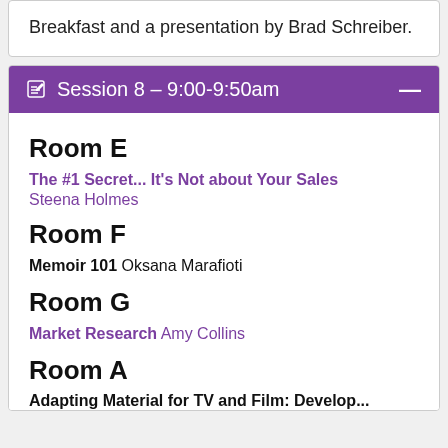Breakfast and a presentation by Brad Schreiber.
Session 8 – 9:00-9:50am
Room E
The #1 Secret... It's Not about Your Sales
Steena Holmes
Room F
Memoir 101 Oksana Marafioti
Room G
Market Research Amy Collins
Room A
Adapting Material for TV and Film: Developing...